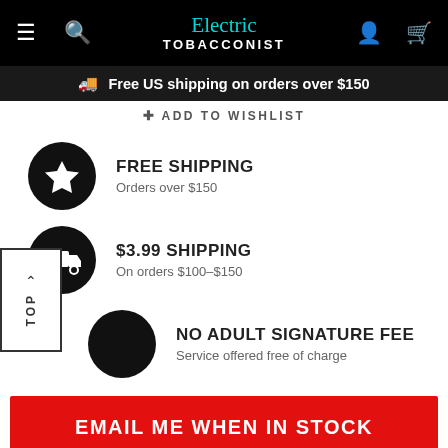Electric Tobacconist – Free US shipping on orders over $150
ADD TO WISHLIST
FREE SHIPPING
Orders over $150
$3.99 SHIPPING
On orders $100–$150
NO ADULT SIGNATURE FEE
Service offered free of charge
EMAIL ME WHEN IN STOCK